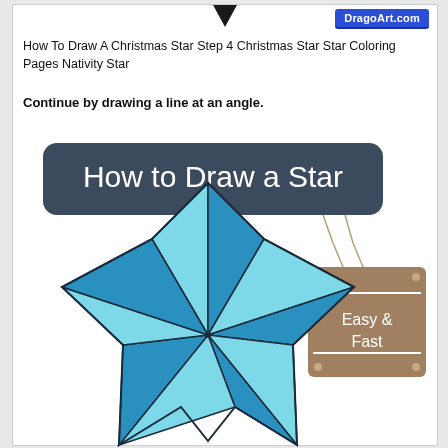DragoArt.com
How To Draw A Christmas Star Step 4 Christmas Star Star Coloring Pages Nativity Star
Continue by drawing a line at an angle.
[Figure (illustration): A blue five-pointed star with nautical/faceted shading in cyan and dark blue tones, with a dark slate-colored rounded rectangle banner reading 'How to Draw a Star' at the top, and a hanging wooden sign reading 'Easy & Fast' on the right side.]